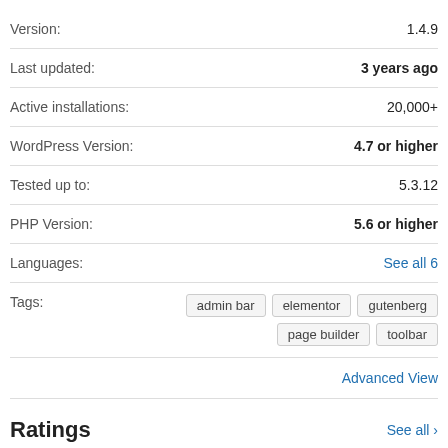| Field | Value |
| --- | --- |
| Version: | 1.4.9 |
| Last updated: | 3 years ago |
| Active installations: | 20,000+ |
| WordPress Version: | 4.7 or higher |
| Tested up to: | 5.3.12 |
| PHP Version: | 5.6 or higher |
| Languages: | See all 6 |
| Tags: | admin bar  elementor  gutenberg  page builder  toolbar |
Advanced View
Ratings
See all >